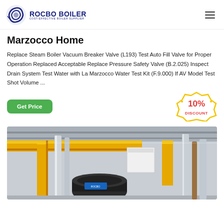[Figure (logo): Rocbo Boiler logo with circular wave icon and text ROCBO BOILER, tagline COST-EFFECTIVE BOILER SUPPLIER]
Marzocco Home
Replace Steam Boiler Vacuum Breaker Valve (L193) Test Auto Fill Valve for Proper Operation Replaced Acceptable Replace Pressure Safety Valve (B.2.025) Inspect Drain System Test Water with La Marzocco Water Test Kit (F.9.000) If AV Model Test Shot Volume ...
[Figure (infographic): 10% DISCOUNT badge in red and yellow on white background]
[Figure (photo): Industrial boiler room with large yellow pipes, silver insulated pipes, and industrial boiler equipment]